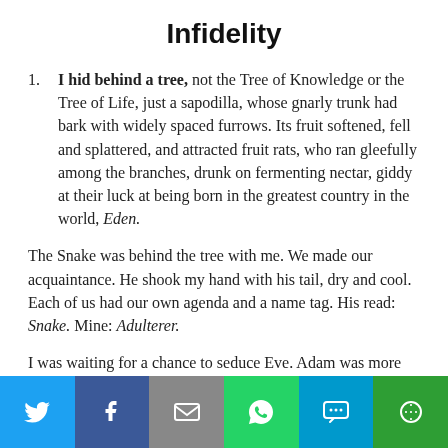Infidelity
I hid behind a tree, not the Tree of Knowledge or the Tree of Life, just a sapodilla, whose gnarly trunk had bark with widely spaced furrows. Its fruit softened, fell and splattered, and attracted fruit rats, who ran gleefully among the branches, drunk on fermenting nectar, giddy at their luck at being born in the greatest country in the world, Eden.
The Snake was behind the tree with me. We made our acquaintance. He shook my hand with his tail, dry and cool. Each of us had our own agenda and a name tag. His read: Snake. Mine: Adulterer.
I was waiting for a chance to seduce Eve. Adam was more muscular, but I had wiles, and had gotten a preview of the Kama